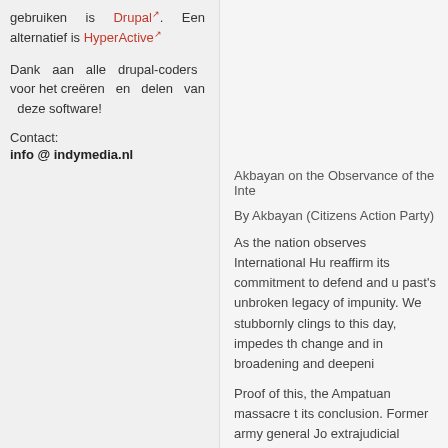gebruiken is Drupal. Een alternatief is HyperActive
Dank aan alle drupal-coders voor het creëren en delen van deze software!
Contact:
info @ indymedia.nl
Akbayan on the Observance of the Inte
By Akbayan (Citizens Action Party)
As the nation observes International Hu reaffirm its commitment to defend and u past's unbroken legacy of impunity. We stubbornly clings to this day, impedes th change and in broadening and deepeni
Proof of this, the Ampatuan massacre t its conclusion. Former army general Jo extrajudicial killings is still a fugitive of t advocates of different color and shade